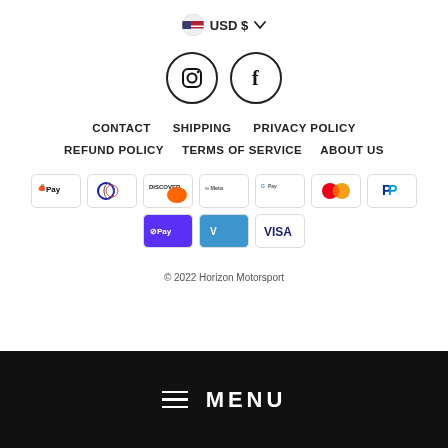[Figure (infographic): USD $ currency selector with US flag icon and dropdown chevron]
[Figure (infographic): Instagram and Facebook social media icon circles]
CONTACT   SHIPPING   PRIVACY POLICY
REFUND POLICY   TERMS OF SERVICE   ABOUT US
[Figure (infographic): Payment method badges: Apple Pay, Diners Club, Discover, Meta Pay, Google Pay, Mastercard, PayPal, Shop Pay, Venmo, Visa]
© 2022 Horizon Motorsport
≡ MENU